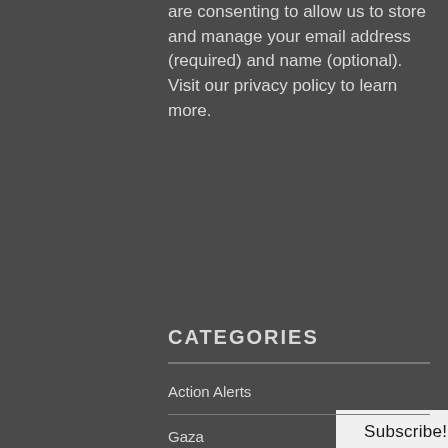are consenting to allow us to store and manage your email address (required) and name (optional). Visit our privacy policy to learn more.
Subscribe!
CATEGORIES
Action Alerts
Gaza
Hebron
In the Media
Journals
Nablus
Photo Story
Press Releases